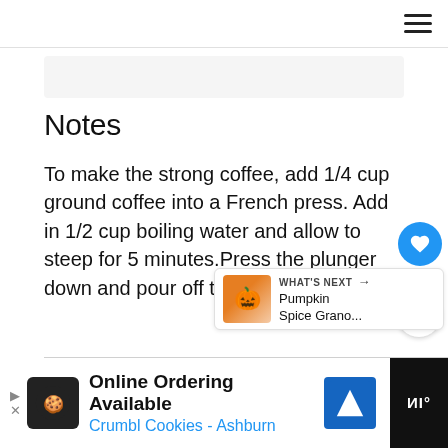hamburger menu icon
Notes
To make the strong coffee, add 1/4 cup ground coffee into a French press. Add in 1/2 cup boiling water and allow to steep for 5 minutes.Press the plunger down and pour off the coffee.
[Figure (other): What's Next card thumbnail showing Pumpkin Spice Grano...]
WHAT'S NEXT → Pumpkin Spice Grano...
[Figure (other): Advertisement bar: Online Ordering Available - Crumbl Cookies - Ashburn]